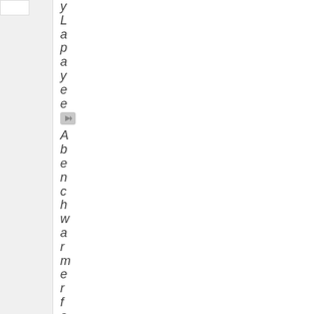yLayee A benchwarmerforce lubre